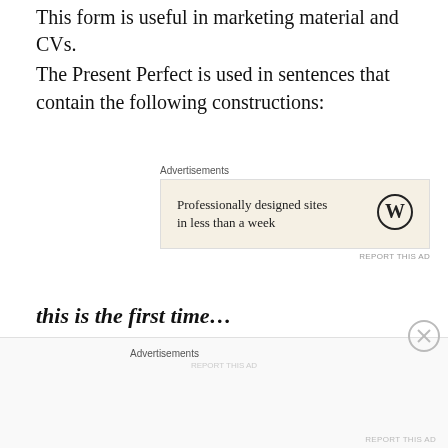This form is useful in marketing material and CVs.
The Present Perfect is used in sentences that contain the following constructions:
[Figure (other): Advertisement block with WordPress logo and text 'Professionally designed sites in less than a week']
this is the first time…
it is the second best…
it is the worst…
this is the only time…
etc.
[Figure (other): Bottom advertisement banner area with Advertisements label and close button]